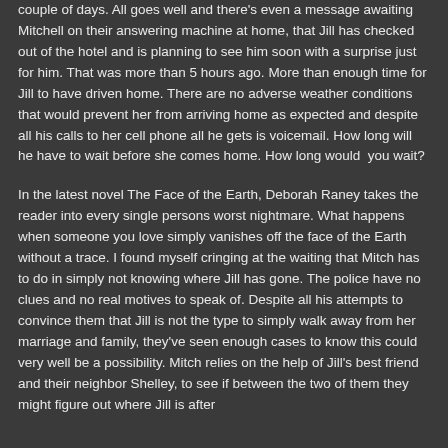couple of days. All goes well and there's even a message awaiting Mitchell on their answering machine at home, that Jill has checked out of the hotel and is planning to see him soon with a surprise just for him. That was more than 5 hours ago. More than enough time for Jill to have driven home. There are no adverse weather conditions that would prevent her from arriving home as expected and despite all his calls to her cell phone all he gets is voicemail. How long will he have to wait before she comes home. How long would  you wait?
In the latest novel The Face of the Earth, Deborah Raney takes the reader into every single persons worst nightmare. What happens when someone you love simply vanishes off the face of the Earth without a trace. I found myself cringing at the waiting that Mitch has to do in simply not knowing where Jill has gone. The police have no clues and no real motives to speak of. Despite all his attempts to convince them that Jill is not the type to simply walk away from her marriage and family, they've seen enough cases to know this could very well be a possibility. Mitch relies on the help of Jill's best friend and their neighbor Shelley, to see if between the two of them they might figure out where Jill is after